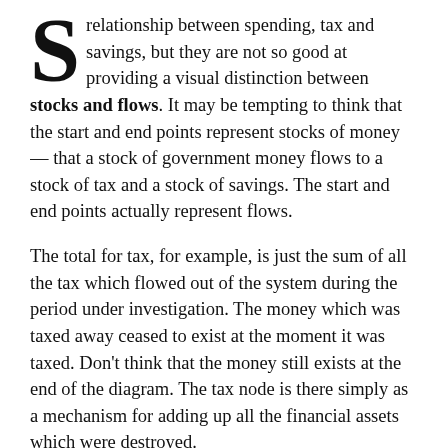S relationship between spending, tax and savings, but they are not so good at providing a visual distinction between stocks and flows. It may be tempting to think that the start and end points represent stocks of money — that a stock of government money flows to a stock of tax and a stock of savings. The start and end points actually represent flows.
The total for tax, for example, is just the sum of all the tax which flowed out of the system during the period under investigation. The money which was taxed away ceased to exist at the moment it was taxed. Don't think that the money still exists at the end of the diagram. The tax node is there simply as a mechanism for adding up all the financial assets which were destroyed.
Similarly, the savings node adds up all the financial assets which were created during the period. They flowed into